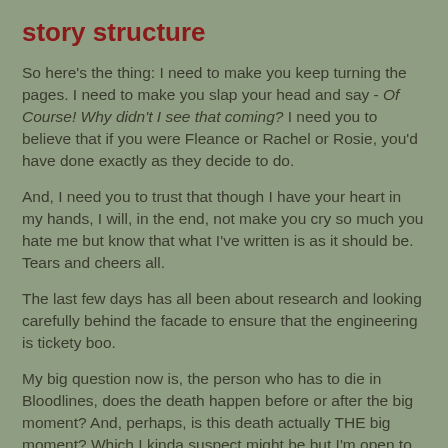story structure
So here's the thing: I need to make you keep turning the pages. I need to make you slap your head and say - Of Course! Why didn't I see that coming? I need you to believe that if you were Fleance or Rachel or Rosie, you'd have done exactly as they decide to do.
And, I need you to trust that though I have your heart in my hands, I will, in the end, not make you cry so much you hate me but know that what I've written is as it should be. Tears and cheers all.
The last few days has all been about research and looking carefully behind the facade to ensure that the engineering is tickety boo.
My big question now is, the person who has to die in Bloodlines, does the death happen before or after the big moment? And, perhaps, is this death actually THE big moment? Which I kinda suspect might be but I'm open to